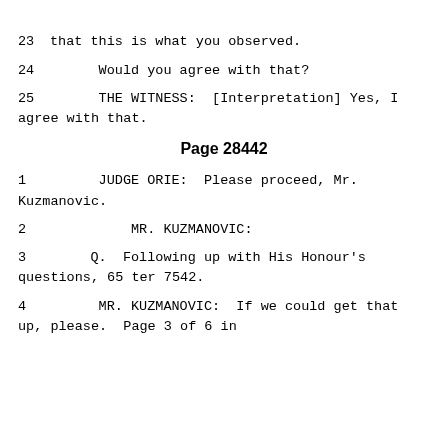that this is what you observed.
Would you agree with that?
THE WITNESS: [Interpretation] Yes, I agree with that.
Page 28442
JUDGE ORIE:  Please proceed, Mr. Kuzmanovic.
MR. KUZMANOVIC:
Q.  Following up with His Honour's questions, 65 ter 7542.
MR. KUZMANOVIC:  If we could get that up, please.  Page 3 of 6 in